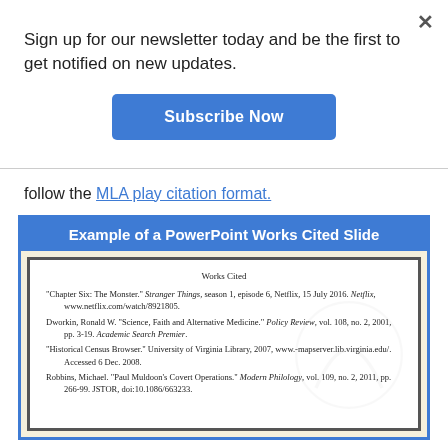×
Sign up for our newsletter today and be the first to get notified on new updates.
[Figure (other): Blue 'Subscribe Now' button]
follow the MLA play citation format.
[Figure (screenshot): Example of a PowerPoint Works Cited Slide showing four MLA-formatted references: 'Chapter Six: The Monster.' Stranger Things, season 1, episode 6, Netflix, 15 July 2016. Dworkin, Ronald W. 'Science, Faith and Alternative Medicine.' Policy Review. 'Historical Census Browser.' University of Virginia Library. Robbins, Michael. 'Paul Muldoon's Covert Operations.' Modern Philology.]